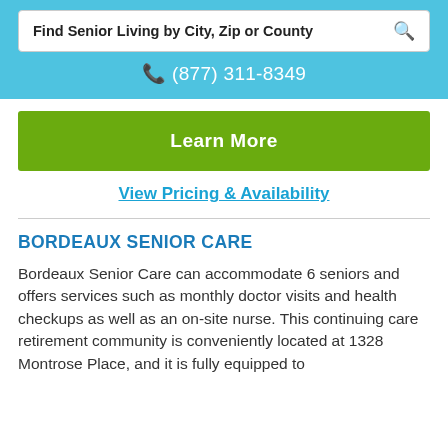Find Senior Living by City, Zip or County
(877) 311-8349
Learn More
View Pricing & Availability
BORDEAUX SENIOR CARE
Bordeaux Senior Care can accommodate 6 seniors and offers services such as monthly doctor visits and health checkups as well as an on-site nurse. This continuing care retirement community is conveniently located at 1328 Montrose Place, and it is fully equipped to